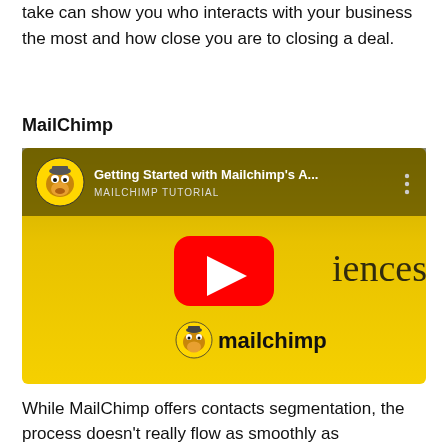take can show you who interacts with your business the most and how close you are to closing a deal.
MailChimp
[Figure (screenshot): YouTube video thumbnail for 'Getting Started with Mailchimp's A...' - MAILCHIMP TUTORIAL. Shows yellow/golden gradient background with text 'About Audiences', a YouTube play button in the center, and the Mailchimp logo (monkey mascot with 'mailchimp' text) at the bottom.]
While MailChimp offers contacts segmentation, the process doesn't really flow as smoothly as ActiveCampaign's approach. You can organize your